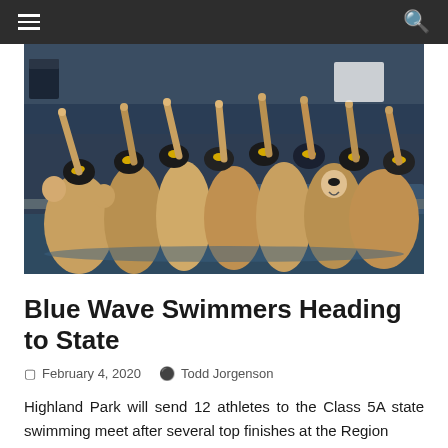☰  [navigation]  🔍
[Figure (photo): A large group of swim team athletes in black and gold swim caps gathered at the edge of a pool, raising their hands and fingers in celebration]
Blue Wave Swimmers Heading to State
February 4, 2020   Todd Jorgenson
Highland Park will send 12 athletes to the Class 5A state swimming meet after several top finishes at the Region
Read more